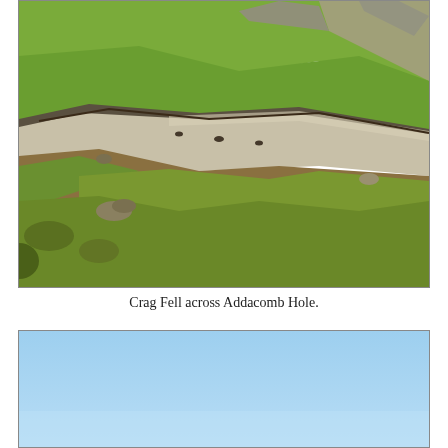[Figure (photo): Photograph of Crag Fell viewed across Addacomb Hole, showing green grassy hillside with a gravel/scree path curving through the landscape, rocky outcrops, and blue sky partially visible.]
Crag Fell across Addacomb Hole.
[Figure (photo): Partial photograph showing a bright blue sky, likely a continuation of outdoor landscape photography from the same location.]